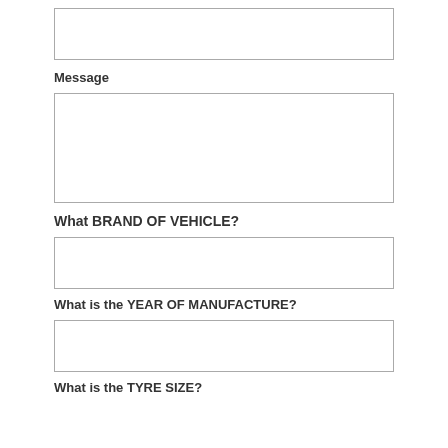(input box - top)
Message
(textarea box)
What BRAND OF VEHICLE?
(input box)
What is the YEAR OF MANUFACTURE?
(input box)
What is the TYRE SIZE?